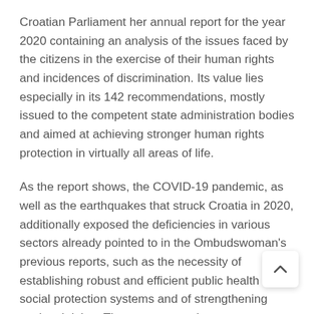Croatian Parliament her annual report for the year 2020 containing an analysis of the issues faced by the citizens in the exercise of their human rights and incidences of discrimination. Its value lies especially in its 142 recommendations, mostly issued to the competent state administration bodies and aimed at achieving stronger human rights protection in virtually all areas of life.
As the report shows, the COVID-19 pandemic, as well as the earthquakes that struck Croatia in 2020, additionally exposed the deficiencies in various sectors already pointed to in the Ombudswoman's previous reports, such as the necessity of establishing robust and efficient public health and social protection systems and of strengthening workers' rights. Thus, we repeat these recommendations in our latest report, with the goal